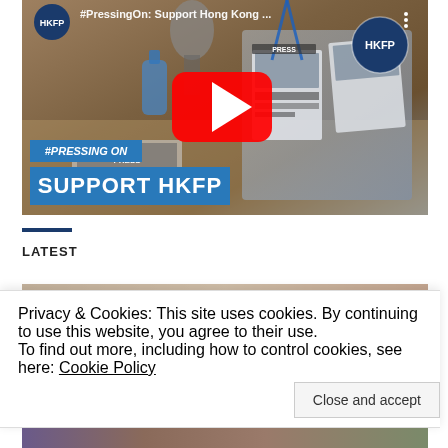[Figure (screenshot): YouTube video thumbnail for HKFP #PressingOn: Support Hong Kong campaign. Shows press ID cards on a table with a microphone. Has HKFP logo top-left and top-right, YouTube play button in center, blue text overlays reading '#PRESSING ON' and 'SUPPORT HKFP'.]
LATEST
[Figure (photo): Partially visible photo strip below LATEST heading, blurred/cropped]
Privacy & Cookies: This site uses cookies. By continuing to use this website, you agree to their use.
To find out more, including how to control cookies, see here: Cookie Policy
Close and accept
[Figure (photo): Bottom strip of another image, partially visible]